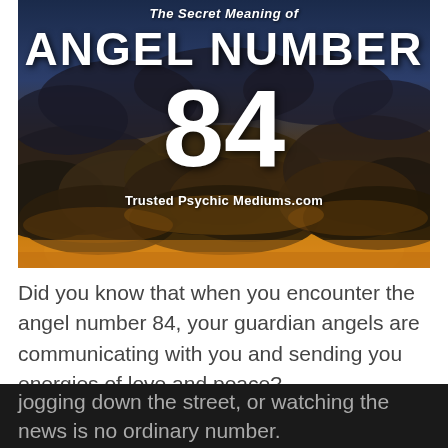[Figure (infographic): Hero image with dramatic sunset/storm clouds sky background. Text overlay reads 'The Secret Meaning of' at top, then 'ANGEL NUMBER' in large bold white text, then '84' in very large white numerals, then 'Trusted Psychic Mediums.com' at bottom.]
Did you know that when you encounter the angel number 84, your guardian angels are communicating with you and sending you energies of love and peace?
The angel number 84 that you keep seeing when you’re grocery shopping, filling up your car,
jogging down the street, or watching the news is no ordinary number.